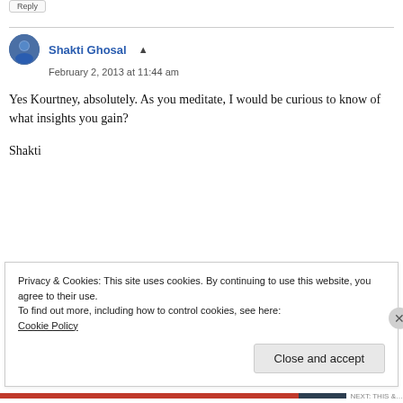Shakti Ghosal
February 2, 2013 at 11:44 am
Yes Kourtney, absolutely. As you meditate, I would be curious to know of what insights you gain?

Shakti
Privacy & Cookies: This site uses cookies. By continuing to use this website, you agree to their use.
To find out more, including how to control cookies, see here:
Cookie Policy
Close and accept